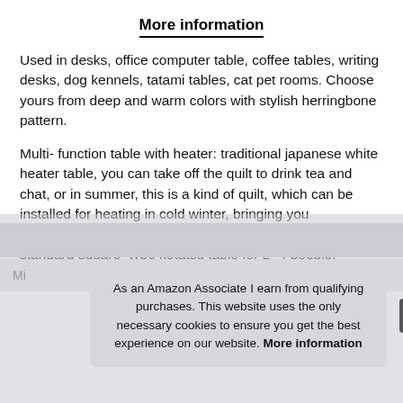More information
Used in desks, office computer table, coffee tables, writing desks, dog kennels, tatami tables, cat pet rooms. Choose yours from deep and warm colors with stylish herringbone pattern.
Multi- function table with heater: traditional japanese white heater table, you can take off the quilt to drink tea and chat, or in summer, this is a kind of quilt, which can be installed for heating in cold winter, bringing you convenience and comfort Leisure time. Suitable for a standard square- type kotatsu table for 2- 4 people.
As an Amazon Associate I earn from qualifying purchases. This website uses the only necessary cookies to ensure you get the best experience on our website. More information